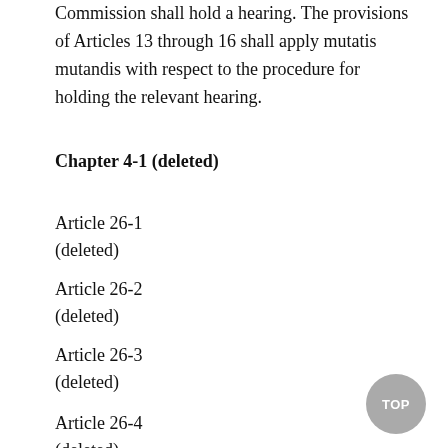Commission shall hold a hearing. The provisions of Articles 13 through 16 shall apply mutatis mutandis with respect to the procedure for holding the relevant hearing.
Chapter 4-1 (deleted)
Article 26-1
(deleted)
Article 26-2
(deleted)
Article 26-3
(deleted)
Article 26-4
(deleted)
Article 26-5
(deleted)